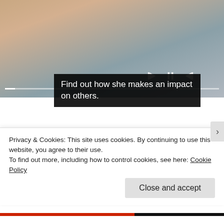[Figure (photo): Video screenshot showing a female healthcare provider with stethoscope talking with a patient, with video playback controls and progress bar overlay]
Find out how she makes an impact on others.
Sponsored by WebMD
[Figure (photo): Thumbnail image of a person sitting on a hill silhouetted against a sunset/orange sky]
Learn how Eddie Applegate adjusted his life after a diagnosis wi...
WebMD
Privacy & Cookies: This site uses cookies. By continuing to use this website, you agree to their use.
To find out more, including how to control cookies, see here: Cookie Policy
Close and accept